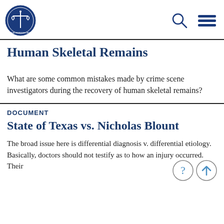National Association of Criminal Defense Lawyers logo with search and menu icons
Human Skeletal Remains
What are some common mistakes made by crime scene investigators during the recovery of human skeletal remains?
DOCUMENT
State of Texas vs. Nicholas Blount
The broad issue here is differential diagnosis v. differential etiology. Basically, doctors should not testify as to how an injury occurred. Their